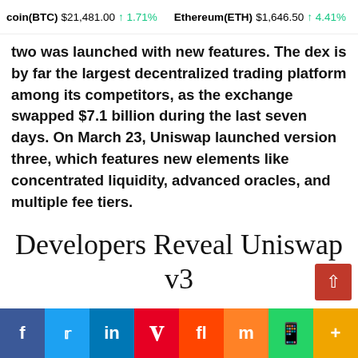coin(BTC) $21,481.00 ↑ 1.71%   Ethereum(ETH) $1,646.50 ↑ 4.41%
two was launched with new features. The dex is by far the largest decentralized trading platform among its competitors, as the exchange swapped $7.1 billion during the last seven days. On March 23, Uniswap launched version three, which features new elements like concentrated liquidity, advanced oracles, and multiple fee tiers.
Developers Reveal Uniswap v3
When the cryptocurrency space was still young back in the early days, decentralized trading platforms were merely a vision. When a few